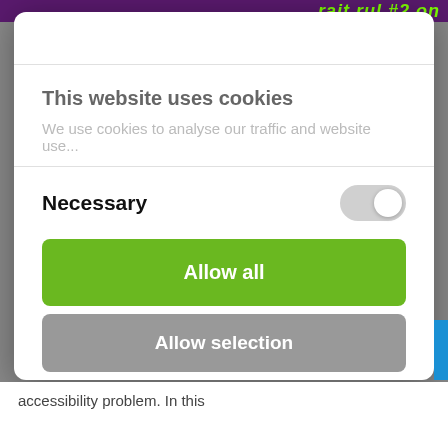This website uses cookies
We use cookies to analyse our traffic and website use...
Necessary
Allow all
Allow selection
Deny
Powered by Cookiebot by Usercentrics
accessibility problem. In this